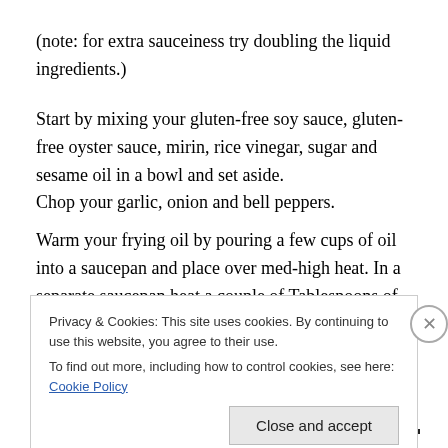(note: for extra sauceiness try doubling the liquid ingredients.)
Start by mixing your gluten-free soy sauce, gluten-free oyster sauce, mirin, rice vinegar, sugar and sesame oil in a bowl and set aside. Chop your garlic, onion and bell peppers.
Warm your frying oil by pouring a few cups of oil into a saucepan and place over med-high heat. In a separate saucepan heat a couple of Tablespoons of oil over
Privacy & Cookies: This site uses cookies. By continuing to use this website, you agree to their use.
To find out more, including how to control cookies, see here: Cookie Policy
Close and accept